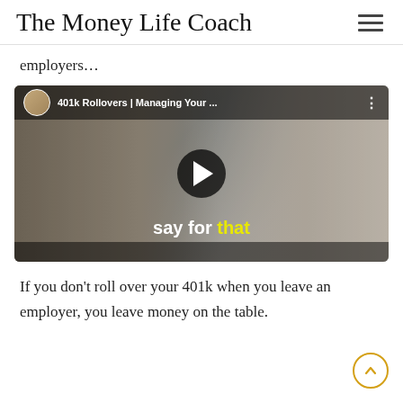The Money Life Coach
employers…
[Figure (screenshot): YouTube video thumbnail showing a woman with blonde hair, glasses, and a dark scarf. Title bar reads '401k Rollovers | Managing Your...' with a channel avatar. Play button in center. Subtitle at bottom reads 'say for that' with 'that' in yellow.]
If you don't roll over your 401k when you leave an employer, you leave money on the table.